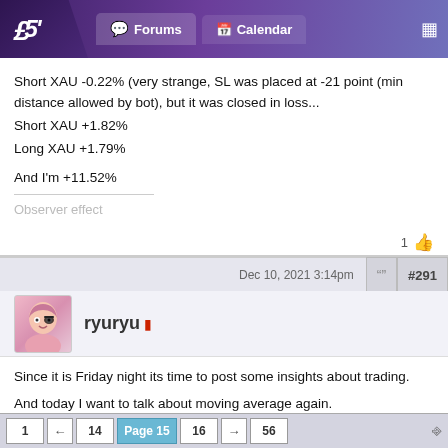Forums | Calendar
Short XAU -0.22% (very strange, SL was placed at -21 point (min distance allowed by bot), but it was closed in loss...
Short XAU +1.82%
Long XAU +1.79%

And I'm +11.52%
Observer effect
Dec 10, 2021 3:14pm   #291
ryuryu
Since it is Friday night its time to post some insights about trading.

And today I want to talk about moving average again.

A lot of people use 50, 100 and 200 MAs. But have you ever wondered why 50? Why 100? Why 200?
1  ←  14  Page 15  16  →  56